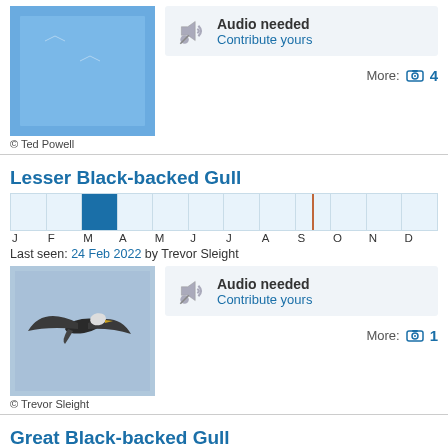[Figure (photo): Blue sky bird photo - Ted Powell]
© Ted Powell
Audio needed
Contribute yours
More: 4
Lesser Black-backed Gull
[Figure (bar-chart): Sighting months]
Last seen: 24 Feb 2022 by Trevor Sleight
[Figure (photo): Bird in flight photo - Trevor Sleight]
© Trevor Sleight
Audio needed
Contribute yours
More: 1
Great Black-backed Gull